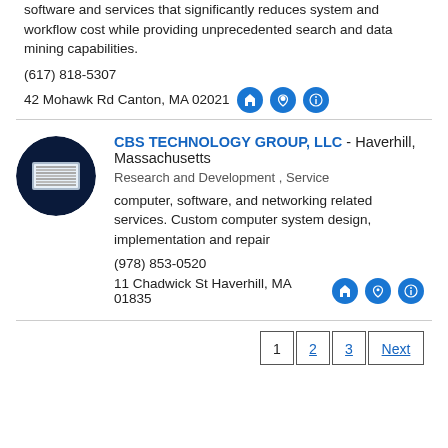software and services that significantly reduces system and workflow cost while providing unprecedented search and data mining capabilities.
(617) 818-5307
42 Mohawk Rd Canton, MA 02021
[Figure (logo): CBS Technology Group logo - circular image with computer hardware on dark blue background]
CBS TECHNOLOGY GROUP, LLC - Haverhill, Massachusetts
Research and Development , Service
computer, software, and networking related services. Custom computer system design, implementation and repair
(978) 853-0520
11 Chadwick St Haverhill, MA 01835
1  2  3  Next